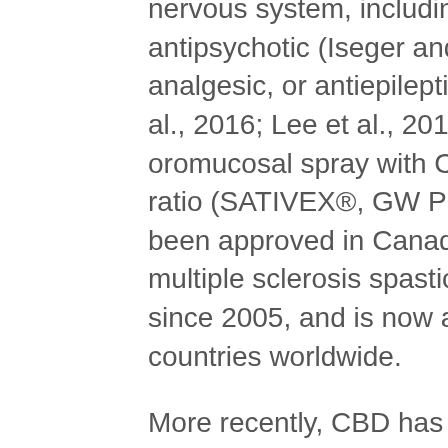nervous system, including anxiolytic, antipsychotic (Iseger and Bossong, 2015), analgesic, or antiepileptic effects (Campos et al., 2016; Lee et al., 2017). In this respect, an oromucosal spray with CBD and THC in a 1:1 ratio (SATIVEX®, GW Pharmaceuticals) has been approved in Canada as a treatment for multiple sclerosis spasticity (Keating, 2017) since 2005, and is now approved in 22 countries worldwide.
More recently, CBD has been approved in the US for seizures prevention in Dravet and